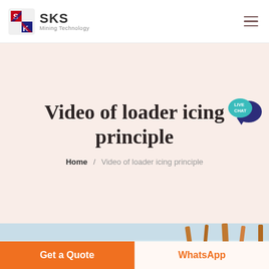SKS Mining Technology
Video of loader icing principle
Home / Video of loader icing principle
[Figure (photo): Partial view of industrial loader machinery against a light blue sky background]
Get a Quote
WhatsApp